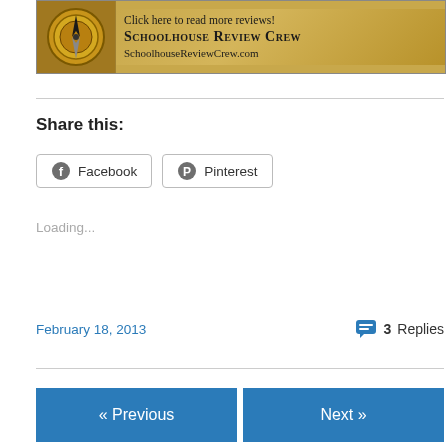[Figure (illustration): Schoolhouse Review Crew banner advertisement with compass image on left and text 'Click here to read more reviews! SCHOOLHOUSE REVIEW CREW SchoolhouseReviewCrew.com' on gold/tan background]
Share this:
Facebook  Pinterest
Loading...
February 18, 2013   3 Replies
« Previous   Next »